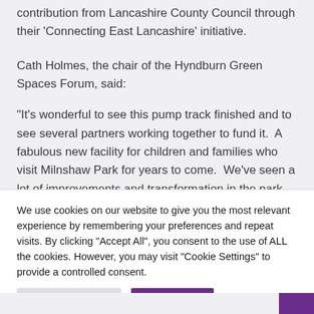contribution from Lancashire County Council through their ‘Connecting East Lancashire’ initiative.
Cath Holmes, the chair of the Hyndburn Green Spaces Forum, said:
“It’s wonderful to see this pump track finished and to see several partners working together to fund it.  A fabulous new facility for children and families who visit Milnshaw Park for years to come.  We’ve seen a lot of improvements and transformation in the park over the past
We use cookies on our website to give you the most relevant experience by remembering your preferences and repeat visits. By clicking “Accept All”, you consent to the use of ALL the cookies. However, you may visit “Cookie Settings” to provide a controlled consent.